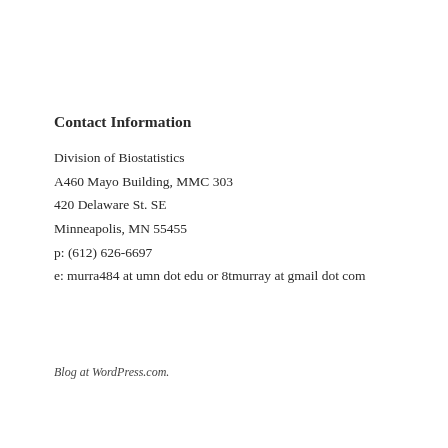Contact Information
Division of Biostatistics
A460 Mayo Building, MMC 303
420 Delaware St. SE
Minneapolis, MN 55455
p: (612) 626-6697
e: murra484 at umn dot edu or 8tmurray at gmail dot com
Blog at WordPress.com.